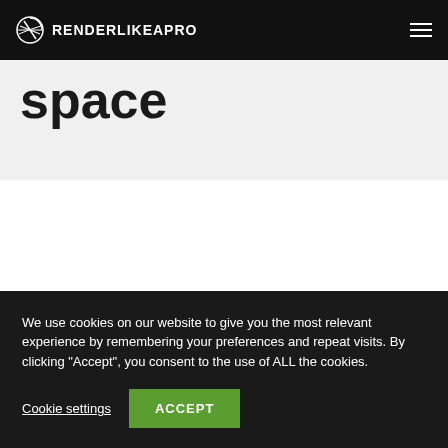RENDERLIKEAPRO
space
We use cookies on our website to give you the most relevant experience by remembering your preferences and repeat visits. By clicking "Accept", you consent to the use of ALL the cookies.
Cookie settings
ACCEPT